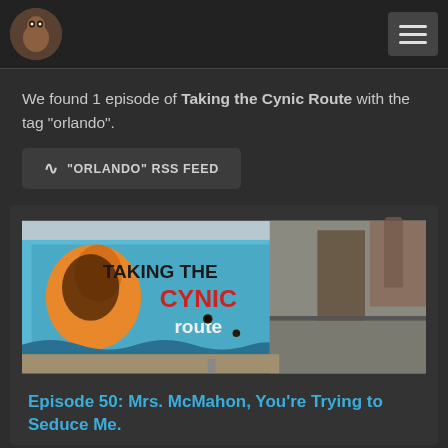Taking the Cynic Route - navigation header with logo and hamburger menu
We found 1 episode of Taking the Cynic Route with the tag “orlando”.
“ORLANDO” RSS FEED
[Figure (photo): Billboard sign reading TAKING THE CYNIC route with illustrated orange bird, set in front of an urban alleyway with old brick buildings]
Episode 50: Mrs. McMahon, You’re Trying to Seduce Me.